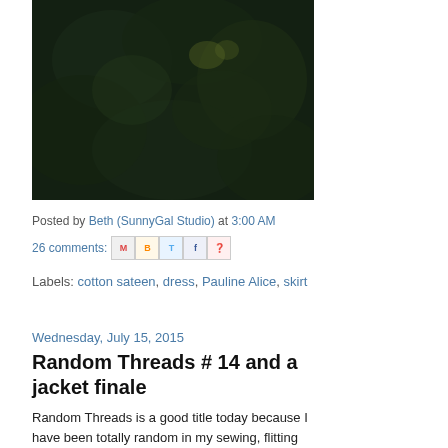[Figure (photo): Dark green leafy outdoor photo, predominantly dark tones with foliage visible]
Posted by Beth (SunnyGal Studio) at 3:00 AM
26 comments: [share icons: Email, Blogger, Twitter, Facebook, Pinterest]
Labels: cotton sateen, dress, Pauline Alice, skirt
Wednesday, July 15, 2015
Random Threads # 14 and a jacket finale
Random Threads is a good title today because I have been totally random in my sewing, flitting from one project to another, with a bit of sewing instruction thrown in for good measure.
As a follow up to something mentioned previously, here is a link to the final jacket post of Meg who came over for an intensive jacket sewing lesson. Her blog is Meg Made This, and